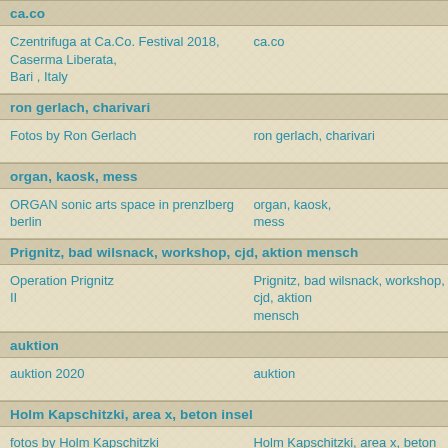ca.co
Czentrifuga at Ca.Co. Festival 2018, Caserma Liberata, Bari , Italy		ca.co
ron gerlach, charivari
Fotos by Ron Gerlach		ron gerlach, charivari
organ, kaosk, mess
ORGAN sonic arts space in prenzlberg berlin		organ, kaosk, mess
Prignitz, bad wilsnack, workshop, cjd, aktion mensch
Operation Prignitz II		Prignitz, bad wilsnack, workshop, cjd, aktion mensch
auktion
auktion 2020		auktion
Holm Kapschitzki, area x, beton insel
fotos by Holm Kapschitzki		Holm Kapschitzki, area x, beton insel